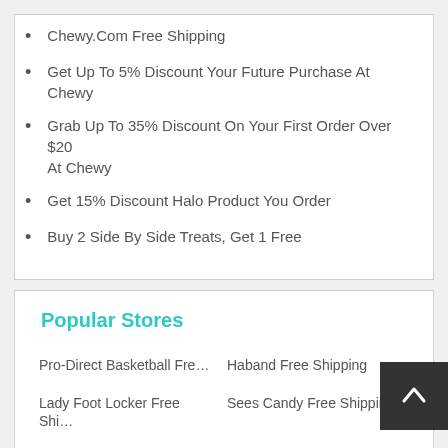Chewy.Com Free Shipping
Get Up To 5% Discount Your Future Purchase At Chewy
Grab Up To 35% Discount On Your First Order Over $20 At Chewy
Get 15% Discount Halo Product You Order
Buy 2 Side By Side Treats, Get 1 Free
Popular Stores
Pro-Direct Basketball Fre…
Haband Free Shipping
Lady Foot Locker Free Shi…
Sees Candy Free Shipping
Florists.Com Free Shipping
Red Envelope Free Shippi…
Parts Geek Free Shipping …
Gallery Direct Promo Cod…